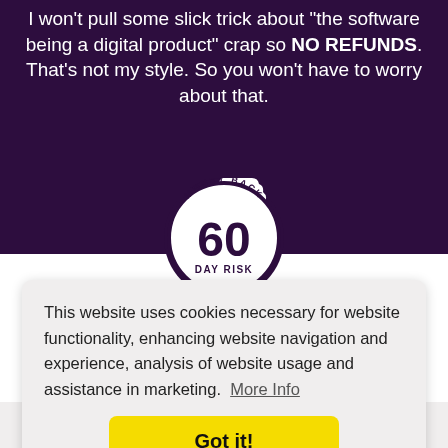I won't pull some slick trick about "the software being a digital product" crap so NO REFUNDS. That's not my style. So you won't have to worry about that.
[Figure (illustration): 60 Day Money Back guarantee badge/seal in white on dark purple background]
This website uses cookies necessary for website functionality, enhancing website navigation and experience, analysis of website usage and assistance in marketing. More Info
Got it!
Why are we giving 60 Days